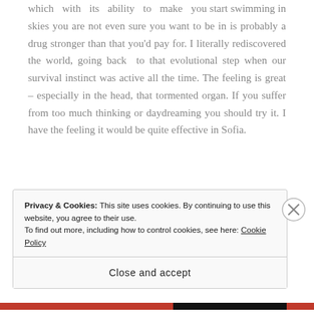which with its ability to make you start swimming in skies you are not even sure you want to be in is probably a drug stronger than that you'd pay for. I literally rediscovered the world, going back to that evolutional step when our survival instinct was active all the time. The feeling is great – especially in the head, that tormented organ. If you suffer from too much thinking or daydreaming you should try it. I have the feeling it would be quite effective in Sofia.
I had an encounter of the first type with Czech
Privacy & Cookies: This site uses cookies. By continuing to use this website, you agree to their use.
To find out more, including how to control cookies, see here: Cookie Policy
Close and accept